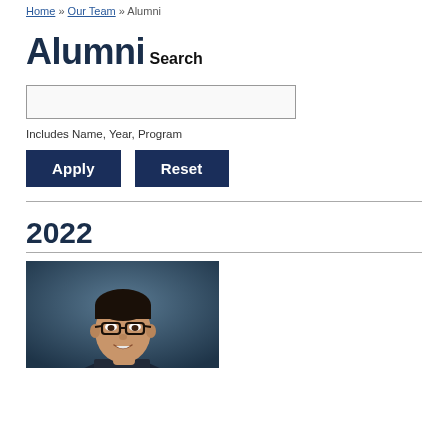Home » Our Team » Alumni
Alumni
Search
Includes Name, Year, Program
2022
[Figure (photo): Headshot photo of a man with dark hair and glasses, wearing a dark suit, against a dark blue/teal blurred background]